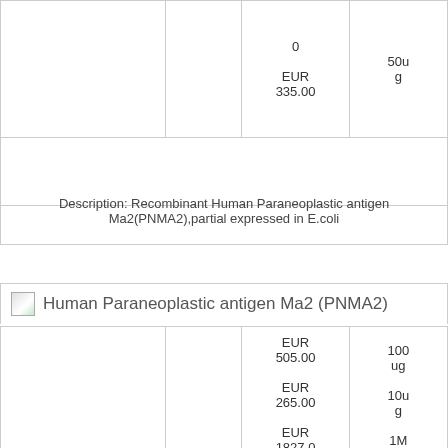|  |  | Price | Size |
| --- | --- | --- | --- |
|  |  | 0
EUR 335.00 | 50ug |
|  |  |  |  |
Description: Recombinant Human Paraneoplastic antigen Ma2(PNMA2),partial expressed in E.coli
Human Paraneoplastic antigen Ma2 (PNMA2)
|  |  | Price | Size |
| --- | --- | --- | --- |
|  |  | EUR 505.00
EUR 265.00
EUR 1827.00 | 100ug
10ug
1MG |
| 1-CSB- |  |  |  |